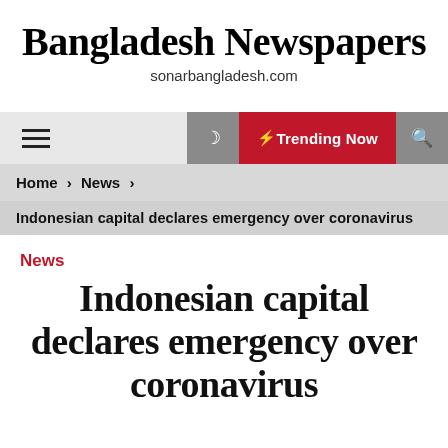Bangladesh Newspapers
sonarbangladesh.com
[Figure (screenshot): Navigation bar with hamburger menu icon on left, moon icon, red Trending Now button with lightning bolt, and search icon on right]
Home > News >
Indonesian capital declares emergency over coronavirus
News
Indonesian capital declares emergency over coronavirus